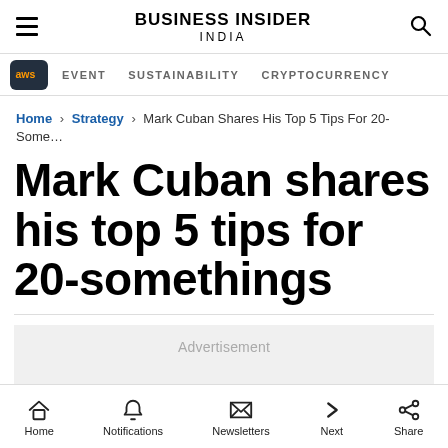BUSINESS INSIDER INDIA
EVENT  SUSTAINABILITY  CRYPTOCURRENCY
Home › Strategy › Mark Cuban Shares His Top 5 Tips For 20-Some...
Mark Cuban shares his top 5 tips for 20-somethings
Advertisement
Home  Notifications  Newsletters  Next  Share